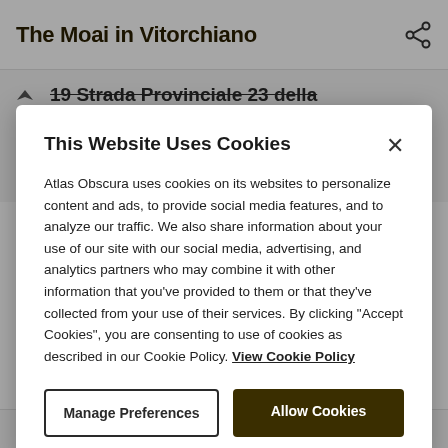The Moai in Vitorchiano
19 Strada Provinciale 23 della Vezza
Vitorchiano
Italy
This Website Uses Cookies
Atlas Obscura uses cookies on its websites to personalize content and ads, to provide social media features, and to analyze our traffic. We also share information about your use of our site with our social media, advertising, and analytics partners who may combine it with other information that you've provided to them or that they've collected from your use of their services. By clicking "Accept Cookies", you are consenting to use of cookies as described in our Cookie Policy. View Cookie Policy
Manage Preferences
Allow Cookies